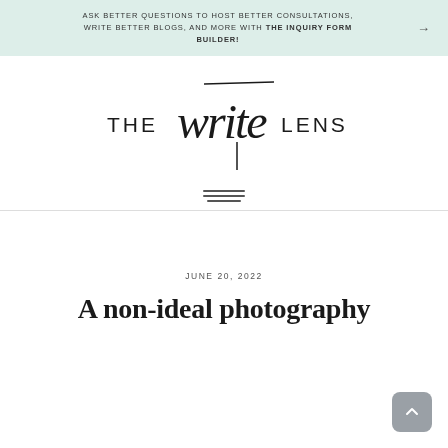ASK BETTER QUESTIONS TO HOST BETTER CONSULTATIONS, WRITE BETTER BLOGS, AND MORE WITH THE INQUIRY FORM BUILDER!
[Figure (logo): The Write Lens logo — stylized script text 'write' between uppercase sans-serif words 'THE' and 'LENS']
JUNE 20, 2022
A non-ideal photography